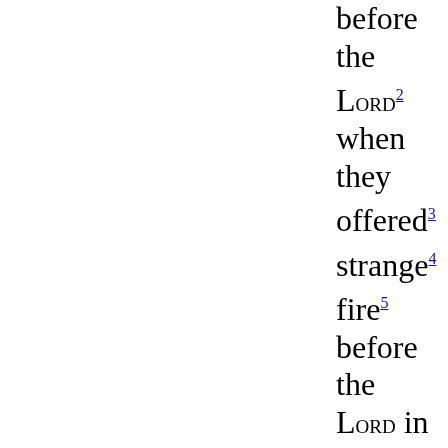before the LORD 2 when they offered 3 strange 4 fire 5 before the LORD in the wilderness of Sinai, and they had no children. 6 So Eleazar and Ithamar ministered as priests 7 in the presence of 8 Aaron